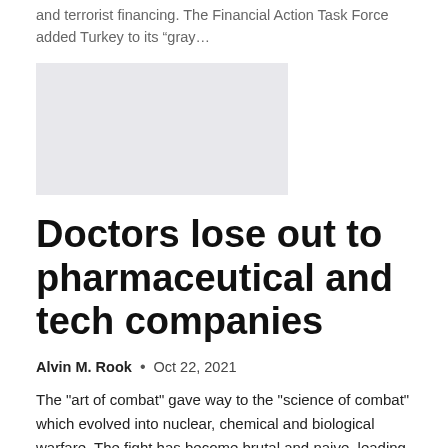and terrorist financing. The Financial Action Task Force added Turkey to its “gray…
[Figure (photo): Gray placeholder image rectangle]
Doctors lose out to pharmaceutical and tech companies
Alvin M. Rook • Oct 22, 2021
The "art of combat" gave way to the "science of combat" which evolved into nuclear, chemical and biological warfare. The fight has become brutal and naive, leading to more collateral damage. In all modern wars, civilian casualties are…